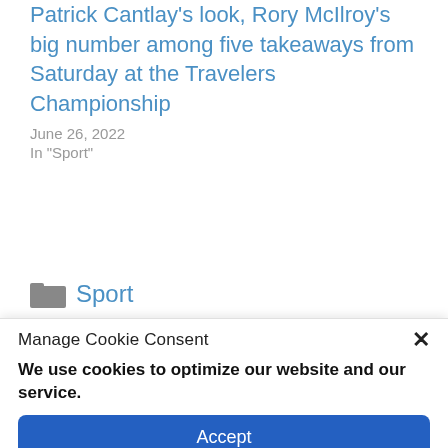Patrick Cantlay's look, Rory McIlroy's big number among five takeaways from Saturday at the Travelers Championship
June 26, 2022
In "Sport"
Sport
Manage Cookie Consent
We use cookies to optimize our website and our service.
Accept
Cookie Policy